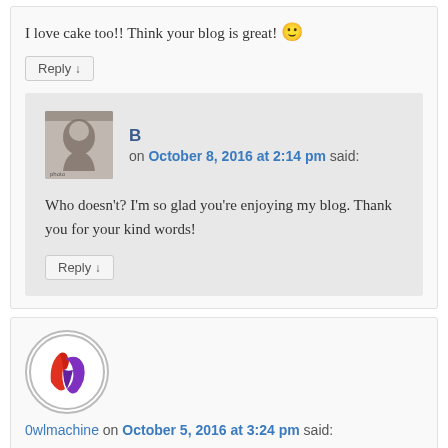I love cake too!! Think your blog is great! 🙂
Reply ↓
B on October 8, 2016 at 2:14 pm said:
Who doesn't? I'm so glad you're enjoying my blog. Thank you for your kind words!
Reply ↓
0wlmachine on October 5, 2016 at 3:24 pm said:
Those are the most photogenic cakes ever. Yum!